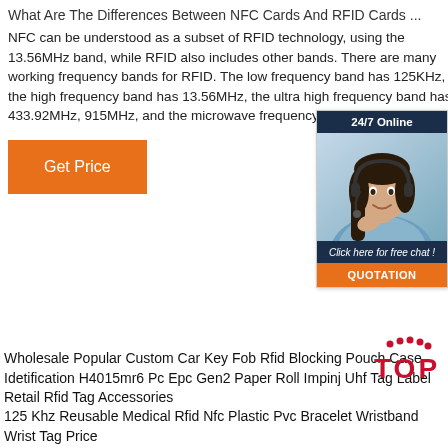What Are The Differences Between NFC Cards And RFID Cards ...
NFC can be understood as a subset of RFID technology, using the 13.56MHz band, while RFID also includes other bands. There are many working frequency bands for RFID. The low frequency band has 125KHz, the high frequency band has 13.56MHz, the ultra high frequency band has 433.92MHz, 915MHz, and the microwave frequency band is 2.45GHz.
[Figure (illustration): 24/7 Online chat widget with a woman wearing a headset, dark navy header, 'Click here for free chat!' text, and orange QUOTATION button]
Get Price
Wholesale Popular Custom Car Key Fob Rfid Blocking Pouch Case
Idetification H4015mr6 Pc Epc Gen2 Paper Roll Impinj Uhf Tag Label Retail Rfid Tag Accessories
125 Khz Reusable Medical Rfid Nfc Plastic Pvc Bracelet Wristband Wrist Tag Price
[Figure (logo): TOP logo in red with decorative dots above]